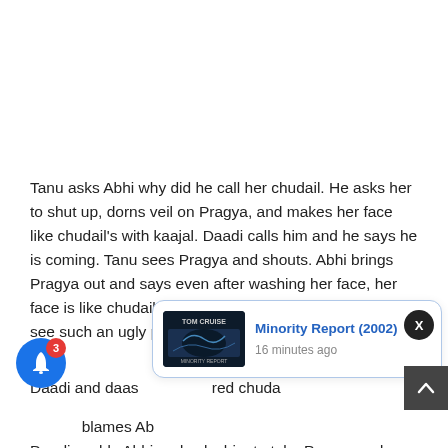Tanu asks Abhi why did he call her chudail. He asks her to shut up, dorns veil on Pragya, and makes her face like chudail's with kaajal. Daadi calls him and he says he is coming. Tanu sees Pragya and shouts. Abhi brings Pragya out and says even after washing her face, her face is like chudail. Daadi opens veil and is shocked to see such an ugly pragya. Both she and Daadi shout in fear.
Daadi and daas...red chuda...blames Abi... Daadi scolds Abhi and asks him to take Pragya and was...
[Figure (screenshot): Notification popup showing 'Minority Report (2002)' with a dark movie thumbnail image (Tom Cruise text visible) and '16 minutes ago' timestamp. A close button (X) appears in the top-right, a blue bell icon with red badge showing '3' is in the bottom-left, and a scroll-to-top arrow button is in the bottom-right.]